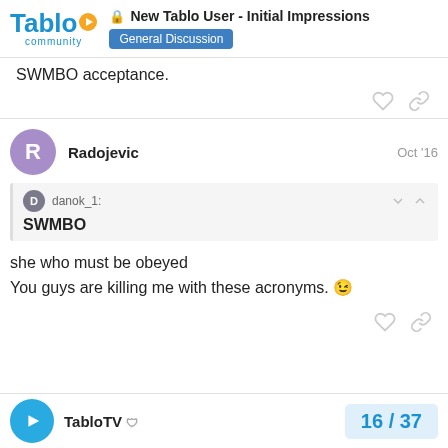New Tablo User - Initial Impressions | General Discussion
SWMBO acceptance.
Radojevic  Oct '16
danok_1: SWMBO
she who must be obeyed
You guys are killing me with these acronyms. 😉
TabloTV  16 / 37